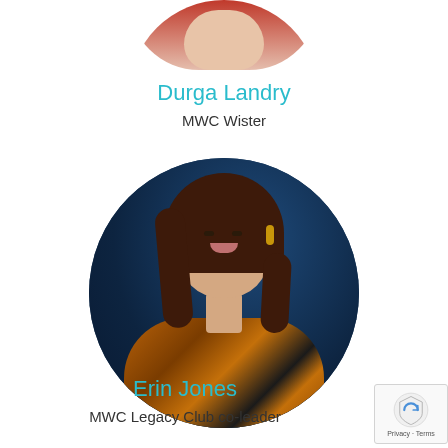[Figure (photo): Partial circular profile photo of Durga Landry, cropped at top of page, showing bottom portion of a woman in a red patterned top]
Durga Landry
MWC Wister
[Figure (photo): Circular profile photo of Erin Jones, a woman with long dark auburn hair, wearing orange and black patterned top, gold earrings, smiling, against dark blue background]
Erin Jones
MWC Legacy Club co-leader